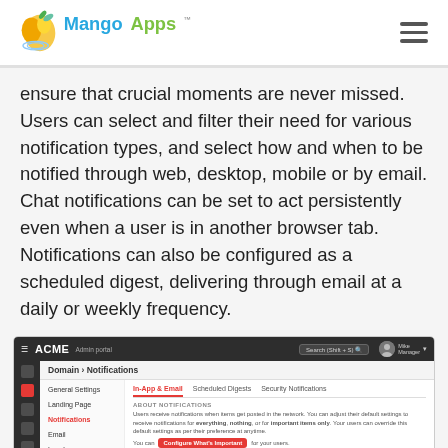MangoApps logo and navigation
ensure that crucial moments are never missed. Users can select and filter their need for various notification types, and select how and when to be notified through web, desktop, mobile or by email. Chat notifications can be set to act persistently even when a user is in another browser tab. Notifications can also be configured as a scheduled digest, delivering through email at a daily or weekly frequency.
[Figure (screenshot): MangoApps ACME Admin portal screenshot showing Domain > Notifications settings page with In-App & Email, Scheduled Digests, and Security Notifications tabs. Left navigation shows General Settings, Landing Page, Notifications (active/highlighted in red), Email, Locale, Timesheets, Share Settings, Startup Dialog. Main content shows About Notifications section with a Configure What's Important button, and a table with Notifications, Everything, Important Only, Nothing columns. Web row shows radio button selected under Everything.]